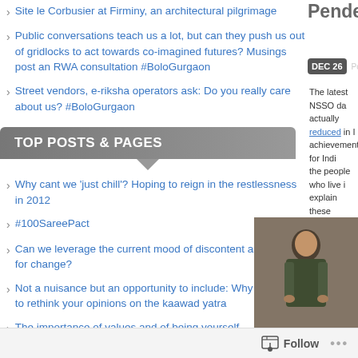Site le Corbusier at Firminy, an architectural pilgrimage
Public conversations teach us a lot, but can they push us out of gridlocks to act towards co-imagined futures? Musings post an RWA consultation #BoloGurgaon
Street vendors, e-riksha operators ask: Do you really care about us? #BoloGurgaon
TOP POSTS & PAGES
Why cant we 'just chill'? Hoping to reign in the restlessness in 2012
#100SareePact
Can we leverage the current mood of discontent and hunger for change?
Not a nuisance but an opportunity to include: Why you need to rethink your opinions on the kaawad yatra
The importance of values and of being yourself
DEC 26  Posted
The latest NSSO da... actually reduced in ... achievement for Indi... the people who live ... explain these differe... compared to 14 milli... the Census found 37...
[Figure (photo): A person in traditional/historical clothing, possibly in a marketplace or outdoor setting]
Follow ...